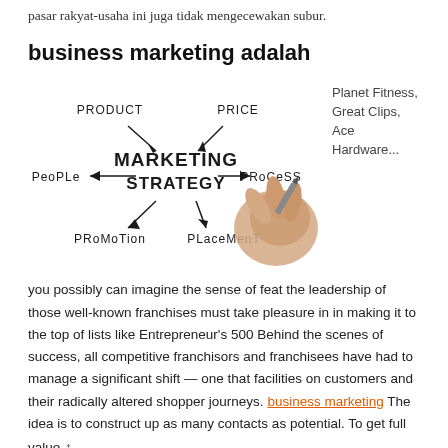pasar rakyat-usaha ini juga tidak mengecewakan subur.
business marketing adalah
[Figure (illustration): A hand-drawn style diagram showing 'MARKETING STRATEGY' in the center with arrows pointing to/from six surrounding labels: PRODUCT (upper left), PRICE (upper right), PROCESS (right), PLACEMENT (lower right), PROMOTION (lower left), PEOPLE (left). A hand holding a pen is visible on the right side of the diagram.]
Planet Fitness, Great Clips, Ace Hardware...
you possibly can imagine the sense of feat the leadership of those well-known franchises must take pleasure in in making it to the top of lists like Entrepreneur's 500 Behind the scenes of success, all competitive franchisors and franchisees have had to manage a significant shift — one that facilities on customers and their radically altered shopper journeys. business marketing The idea is to construct up as many contacts as potential. To get full value